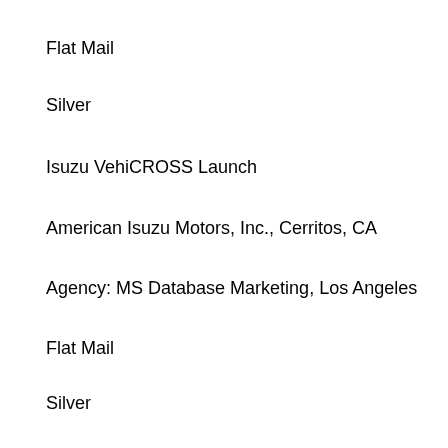Flat Mail
Silver
Isuzu VehiCROSS Launch
American Isuzu Motors, Inc., Cerritos, CA
Agency: MS Database Marketing, Los Angeles
Flat Mail
Silver
Digger Address Campaign